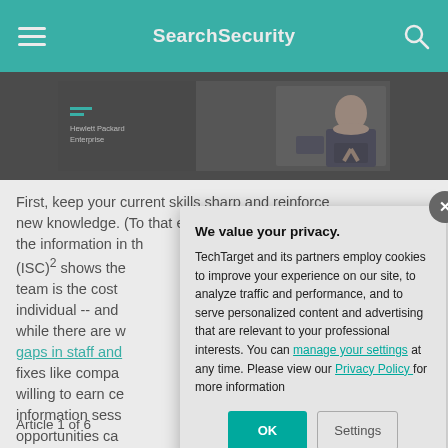SearchSecurity
[Figure (screenshot): Hewlett Packard Enterprise banner advertisement with dark background and person sitting at desk on right side]
First, keep your current skills sharp and reinforce new knowledge. (To that end, try the quiz based on the information in th... (ISC)² shows the... team is the cost... individual -- and... while there are w... gaps in staff and... fixes like compa... willing to earn ce... information sess... opportunities ca...
We value your privacy. TechTarget and its partners employ cookies to improve your experience on our site, to analyze traffic and performance, and to serve personalized content and advertising that are relevant to your professional interests. You can manage your settings at any time. Please view our Privacy Policy for more information
Article 1 of 6